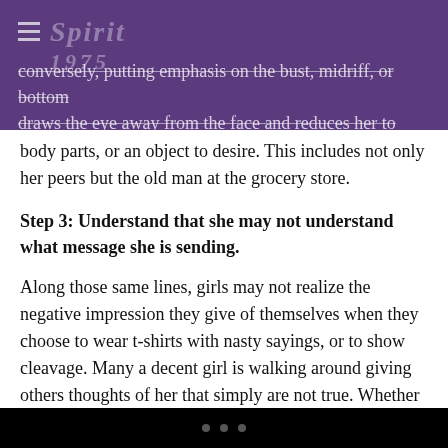conversely, putting emphasis on the bust, midriff, or bottom draws the eye away from the face and reduces her to mere
body parts, or an object to desire. This includes not only her peers but the old man at the grocery store.
Step 3: Understand that she may not understand what message she is sending.
Along those same lines, girls may not realize the negative impression they give of themselves when they choose to wear t-shirts with nasty sayings, or to show cleavage. Many a decent girl is walking around giving others thoughts of her that simply are not true. Whether we like it or not, we are judged by the way we look. This may be wrong, but it's a fact and all of us do it, even if it's unintentional. A bad impression can cause the